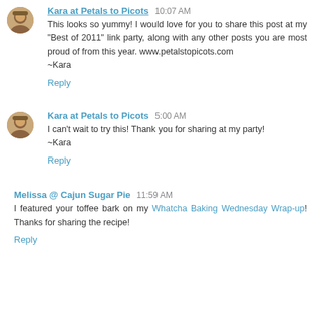Kara at Petals to Picots 10:07 AM
This looks so yummy! I would love for you to share this post at my "Best of 2011" link party, along with any other posts you are most proud of from this year. www.petalstopicots.com
~Kara
Reply
Kara at Petals to Picots 5:00 AM
I can't wait to try this! Thank you for sharing at my party!
~Kara
Reply
Melissa @ Cajun Sugar Pie 11:59 AM
I featured your toffee bark on my Whatcha Baking Wednesday Wrap-up! Thanks for sharing the recipe!
Reply